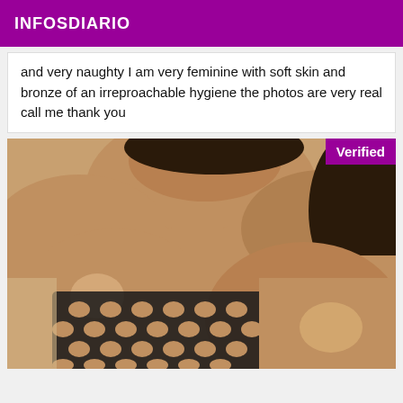INFOSDIARIO
and very naughty I am very feminine with soft skin and bronze of an irreproachable hygiene the photos are very real call me thank you
[Figure (photo): Close-up photo of a woman wearing a black fishnet/mesh top, with a 'Verified' badge in the top right corner]